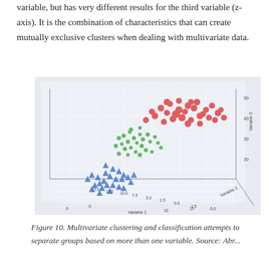variable, but has very different results for the third variable (z-axis). It is the combination of characteristics that can create mutually exclusive clusters when dealing with multivariate data.
[Figure (continuous-plot): 3D scatter plot showing three clusters of data points (red circles in upper region, green dots in middle region, blue triangles in lower region) plotted against Variable 1 (x-axis), Variable 2 (y-axis), and Variable 3 (z-axis). The plot has a light blue-grey background with white grid lines.]
Figure 10. Multivariate clustering and classification attempts to separate groups based on more than one variable. Source: Abr...